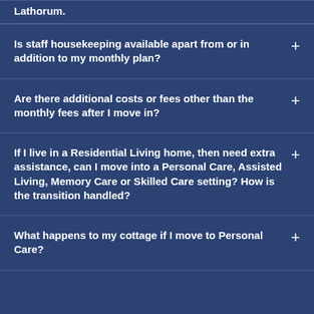Lathorum.
Is staff housekeeping available apart from or in addition to my monthly plan?
Are there additional costs or fees other than the monthly fees after I move in?
If I live in a Residential Living home, then need extra assistance, can I move into a Personal Care, Assisted Living, Memory Care or Skilled Care setting? How is the transition handled?
What happens to my cottage if I move to Personal Care?